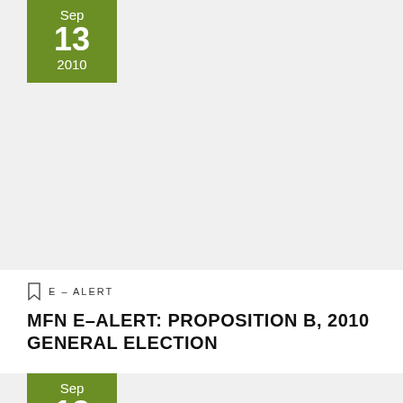[Figure (other): Card with date badge showing Sep 13 2010 on a light gray background]
E – ALERT
MFN E–ALERT: PROPOSITION B, 2010 GENERAL ELECTION
[Figure (other): Card with date badge showing Sep 13 on a light gray background]